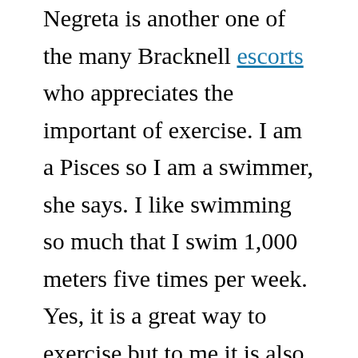Negreta is another one of the many Bracknell escorts who appreciates the important of exercise. I am a Pisces so I am a swimmer, she says. I like swimming so much that I swim 1,000 meters five times per week. Yes, it is a great way to exercise but to me it is also a physical need. I just need to exercise in water. It works out my body and lifts my spirit as well. Many people born under the sign of Pisces probably see it the same way I do, water is the ultimate exercise tool. It certainly sounds like our hot Bracknell